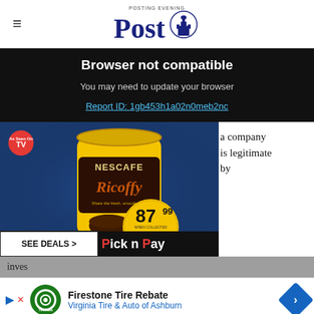Post (Posting Evening Post logo)
Browser not compatible
You may need to update your browser
Report ID: 1gb453h1a02n0meb2nc
[Figure (photo): Nescafe Ricoffy coffee tin advertisement with price 87.99 and SAVE R22, SEE DEALS > and Pick n Pay logo]
a company is legitimate by
inves
[Figure (infographic): Firestone Tire Rebate advertisement - Virginia Tire & Auto of Ashburn with TireAuto logo and blue arrow icon]